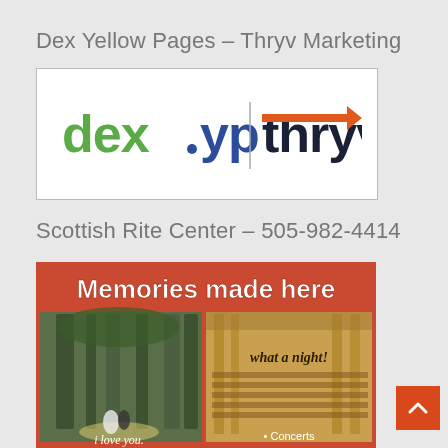Dex Yellow Pages – Thryv Marketing
[Figure (logo): dex.yp and thryv combined logo with green/blue text and orange arrow]
Scottish Rite Center – 505-982-4414
[Figure (photo): Scottish Rite Center advertisement with text 'Memories made here', showing a wedding outdoor venue and an indoor concert hall with text 'what a night!', 'i love you', and 'Concerts']